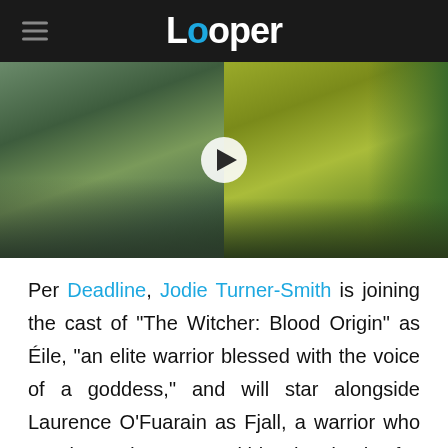Looper
[Figure (photo): Split video thumbnail showing two green/orc-like creatures with open mouths, one darker green on the left and one brighter yellow-green on the right, with a play button overlay in the center.]
Per Deadline, Jodie Turner-Smith is joining the cast of "The Witcher: Blood Origin" as Éile, "an elite warrior blessed with the voice of a goddess," and will star alongside Laurence O'Fuarain as Fjall, a warrior who "carries a deep scar within, the death of a loved one who fell in battle trying to save him." Both leave their old lives behind when the "conjunction of the spheres" introduces magic and